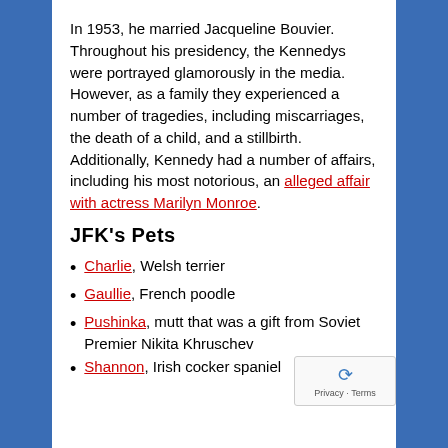In 1953, he married Jacqueline Bouvier. Throughout his presidency, the Kennedys were portrayed glamorously in the media. However, as a family they experienced a number of tragedies, including miscarriages, the death of a child, and a stillbirth. Additionally, Kennedy had a number of affairs, including his most notorious, an alleged affair with actress Marilyn Monroe.
JFK's Pets
Charlie, Welsh terrier
Gaullie, French poodle
Pushinka, mutt that was a gift from Soviet Premier Nikita Khruschev
Shannon, Irish cocker spaniel